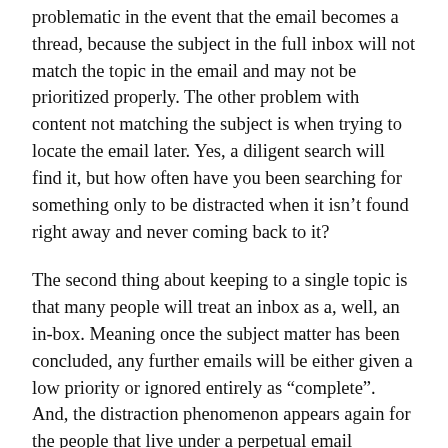problematic in the event that the email becomes a thread, because the subject in the full inbox will not match the topic in the email and may not be prioritized properly. The other problem with content not matching the subject is when trying to locate the email later. Yes, a diligent search will find it, but how often have you been searching for something only to be distracted when it isn't found right away and never coming back to it?
The second thing about keeping to a single topic is that many people will treat an inbox as a, well, an in-box. Meaning once the subject matter has been concluded, any further emails will be either given a low priority or ignored entirely as “complete”.  And, the distraction phenomenon appears again for the people that live under a perpetual email avalanche, this time when there are multiple action items in the email for a single recipient.